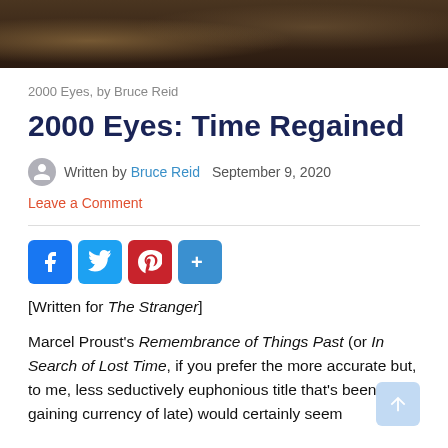[Figure (photo): Dark photograph banner showing people, cropped at top of page]
2000 Eyes, by Bruce Reid
2000 Eyes: Time Regained
Written by Bruce Reid  September 9, 2020
Leave a Comment
[Figure (infographic): Social share buttons: Facebook, Twitter, Pinterest, More (+)]
[Written for The Stranger]
Marcel Proust's Remembrance of Things Past (or In Search of Lost Time, if you prefer the more accurate but, to me, less seductively euphonious title that's been gaining currency of late) would certainly seem